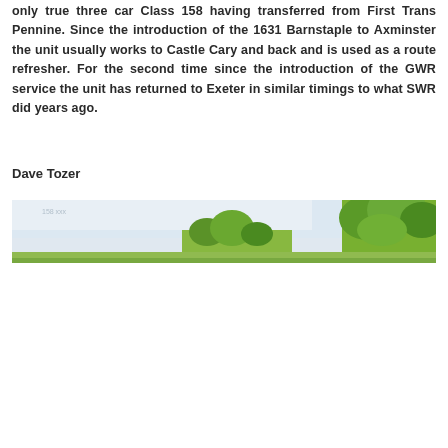only true three car Class 158 having transferred from First Trans Pennine. Since the introduction of the 1631 Barnstaple to Axminster the unit usually works to Castle Cary and back and is used as a route refresher. For the second time since the introduction of the GWR service the unit has returned to Exeter in similar timings to what SWR did years ago.
Dave Tozer
[Figure (photo): A wide panoramic photograph showing a railway scene with trees and sky in the background. Green trees visible on the right side and middle, with a light sky above.]